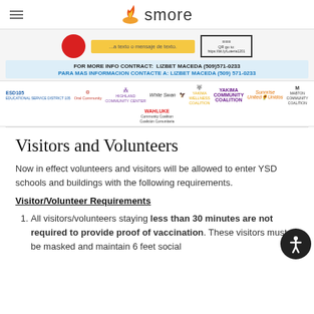smore
[Figure (infographic): Screenshot of a lottery/raffle promotional banner with a red circle logo, yellow text box in Spanish, and a QR code with URL https://bit.ly/Loteria1201]
FOR MORE INFO CONTRACT: LIZBET MACEDA (509)571-0233
PARA MAS INFORMACION CONTACTE A: LIZBET MACEDA (509) 571-0233
[Figure (logo): Multiple partner organization logos: ESD105, Oral Community, Highland Community Center, White Swan, Yakima Wellness Coalition, Yakima Community Coalition, Sunriser United/Unidos, Mabton Community Coalition, Wahluke Community Coalition]
Visitors and Volunteers
Now in effect volunteers and visitors will be allowed to enter YSD schools and buildings with the following requirements.
Visitor/Volunteer Requirements
All visitors/volunteers staying less than 30 minutes are not required to provide proof of vaccination. These visitors must be masked and maintain 6 feet social